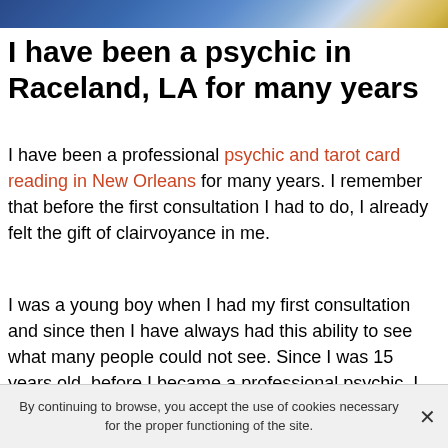[Figure (photo): Decorative header image with blue and gold tones]
I have been a psychic in Raceland, LA for many years
I have been a professional psychic and tarot card reading in New Orleans for many years. I remember that before the first consultation I had to do, I already felt the gift of clairvoyance in me.
I was a young boy when I had my first consultation and since then I have always had this ability to see what many people could not see. Since I was 15 years old, before I became a professional psychic, I was tempted to report my predictions to those around me.
Each time, they were more and more fascinated by my revelations despite my young age. Over time and within a
By continuing to browse, you accept the use of cookies necessary for the proper functioning of the site.